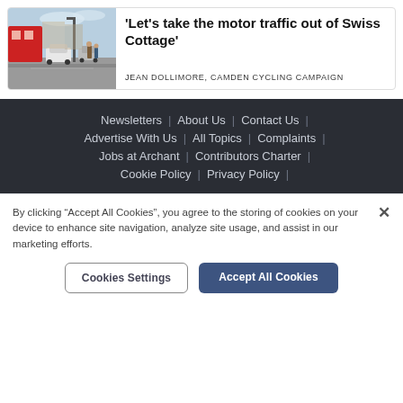[Figure (photo): Street scene photo showing a red double-decker bus, parked and moving cars, pedestrians, and buildings on a busy UK street.]
'Let's take the motor traffic out of Swiss Cottage'
JEAN DOLLIMORE, CAMDEN CYCLING CAMPAIGN
Newsletters | About Us | Contact Us | Advertise With Us | All Topics | Complaints | Jobs at Archant | Contributors Charter | Cookie Policy | Privacy Policy
By clicking "Accept All Cookies", you agree to the storing of cookies on your device to enhance site navigation, analyze site usage, and assist in our marketing efforts.
Cookies Settings
Accept All Cookies